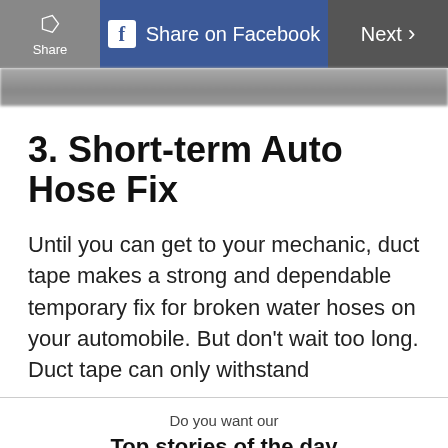Share | Share on Facebook | Next >
[Figure (photo): Blurred image strip at top of article]
3. Short-term Auto Hose Fix
Until you can get to your mechanic, duct tape makes a strong and dependable temporary fix for broken water hoses on your automobile. But don't wait too long. Duct tape can only withstand
Do you want our
Top stories of the day delivered to your inbox?
YES PLEASE!
NO THANKS